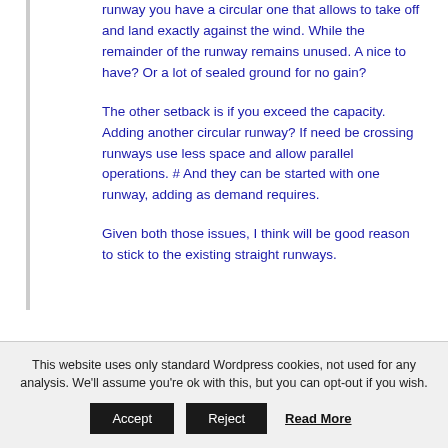runway you have a circular one that allows to take off and land exactly against the wind. While the remainder of the runway remains unused. A nice to have? Or a lot of sealed ground for no gain?
The other setback is if you exceed the capacity. Adding another circular runway? If need be crossing runways use less space and allow parallel operations. # And they can be started with one runway, adding as demand requires.
Given both those issues, I think will be good reason to stick to the existing straight runways.
This website uses only standard Wordpress cookies, not used for any analysis. We'll assume you're ok with this, but you can opt-out if you wish.  Accept  Reject  Read More